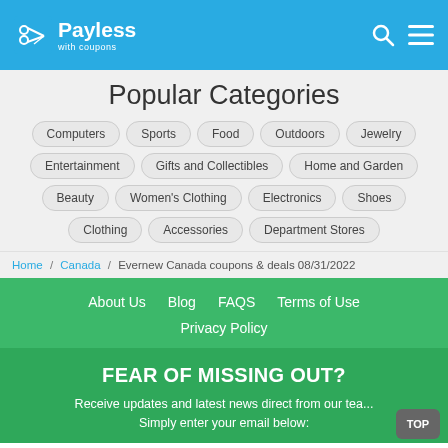Payless with coupons
Popular Categories
Computers
Sports
Food
Outdoors
Jewelry
Entertainment
Gifts and Collectibles
Home and Garden
Beauty
Women's Clothing
Electronics
Shoes
Clothing
Accessories
Department Stores
Home / Canada / Evernew Canada coupons & deals 08/31/2022
About Us  Blog  FAQS  Terms of Use  Privacy Policy
FEAR OF MISSING OUT?
Receive updates and latest news direct from our tea... Simply enter your email below: